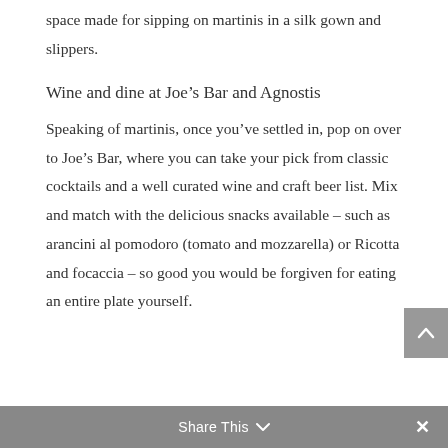space made for sipping on martinis in a silk gown and slippers.
Wine and dine at Joe’s Bar and Agnostis
Speaking of martinis, once you’ve settled in, pop on over to Joe’s Bar, where you can take your pick from classic cocktails and a well curated wine and craft beer list. Mix and match with the delicious snacks available – such as arancini al pomodoro (tomato and mozzarella) or Ricotta and focaccia – so good you would be forgiven for eating an entire plate yourself.
Share This ⌄  ×